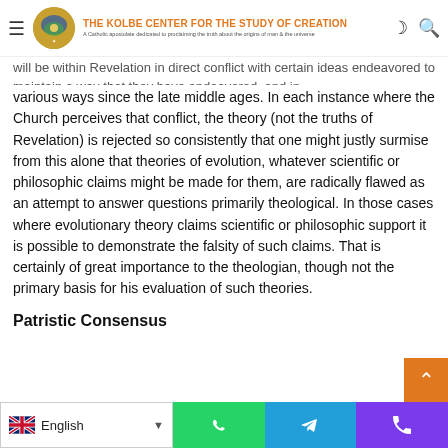THE KOLBE CENTER FOR THE STUDY OF CREATION — A Catholic apostolate dedicated to proclaiming the truth about the origins of man & the universe
will be within Revelation in direct conflict with certain ideas endeavored to maintain a way that they have endeavored, and in various ways since the late middle ages. In each instance where the Church perceives that conflict, the theory (not the truths of Revelation) is rejected so consistently that one might justly surmise from this alone that theories of evolution, whatever scientific or philosophic claims might be made for them, are radically flawed as an attempt to answer questions primarily theological. In those cases where evolutionary theory claims scientific or philosophic support it is possible to demonstrate the falsity of such claims. That is certainly of great importance to the theologian, though not the primary basis for his evaluation of such theories.
Patristic Consensus
English [language selector] [WhatsApp] [Telegram] [Phone]